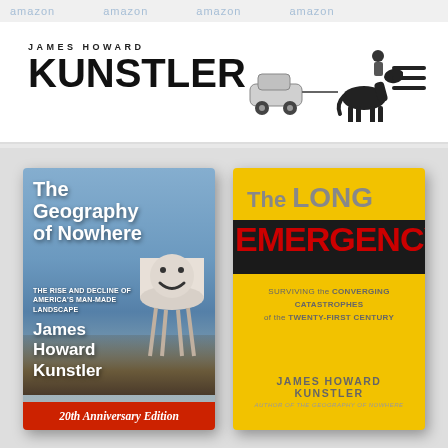amazon amazon amazon amazon
[Figure (logo): James Howard Kunstler logo with name and horse/car illustration and hamburger menu]
[Figure (illustration): Book cover: The Geography of Nowhere - The Rise and Decline of America's Man-Made Landscape by James Howard Kunstler, 20th Anniversary Edition]
[Figure (illustration): Book cover: The Long Emergency - Surviving the Converging Catastrophes of the Twenty-First Century by James Howard Kunstler, Author of The Geography of Nowhere]